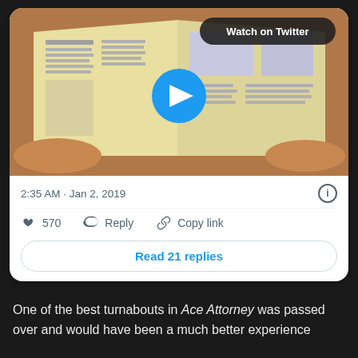[Figure (screenshot): Anime screenshot showing hands holding an open book/magazine with illustrated pages, with a blue play button overlay and 'Watch on Twitter' badge]
2:35 AM · Jan 2, 2019
570  Reply  Copy link
Read 21 replies
One of the best turnabouts in Ace Attorney was passed over and would have been a much better experience